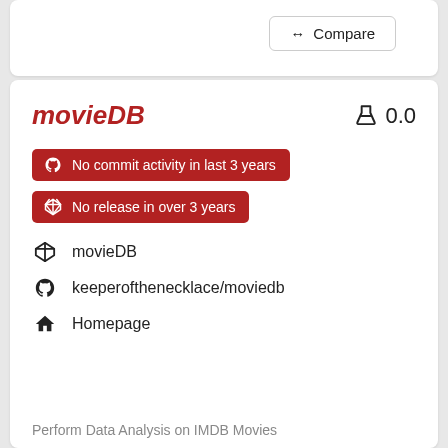↔ Compare
movieDB
🔬 0.0
No commit activity in last 3 years
No release in over 3 years
movieDB
keeperofthenecklace/moviedb
Homepage
Perform Data Analysis on IMDB Movies